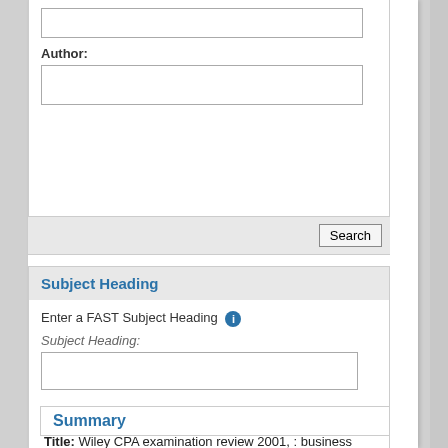Author:
[Figure (screenshot): Form input box for Author field (empty text input)]
[Figure (screenshot): Search button in gray bar at bottom of top form section]
Subject Heading
Enter a FAST Subject Heading
Subject Heading:
[Figure (screenshot): Form input box for Subject Heading field (empty text input)]
[Figure (screenshot): Search button in gray bar at bottom of Subject Heading section]
Summary
Title: Wiley CPA examination review 2001, : business